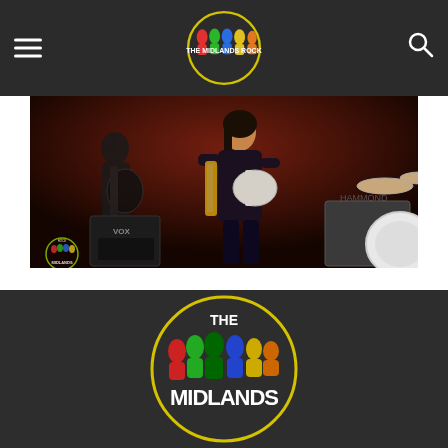The Midlands Rock - header navigation with hamburger menu, logo, and search icon
[Figure (photo): Concert photo showing guitarist on stage playing a Telecaster-style guitar, wearing dark patterned outfit. Another guitarist visible on left. Stage lighting is red/dark. VOX amplifier visible. Midlands Rock watermark in bottom left corner.]
[Figure (logo): The Midlands Rock circular logo with yellow border. Top says THE, center shows colorful silhouette figures (red, green, blue, yellow), bottom says MIDLANDS in large white bold text on dark background.]